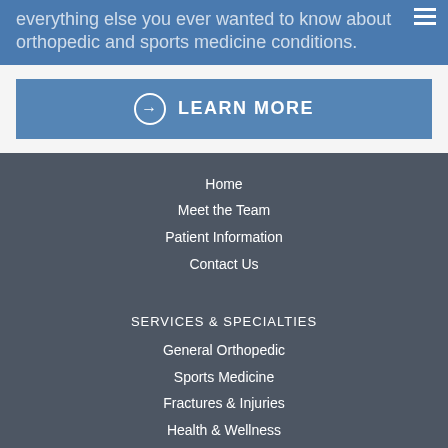everything else you ever wanted to know about orthopedic and sports medicine conditions.
LEARN MORE
Home
Meet the Team
Patient Information
Contact Us
SERVICES & SPECIALTIES
General Orthopedic
Sports Medicine
Fractures & Injuries
Health & Wellness
HIPAA Privacy Policy
Transparency in Coverage Rule
Sitemap